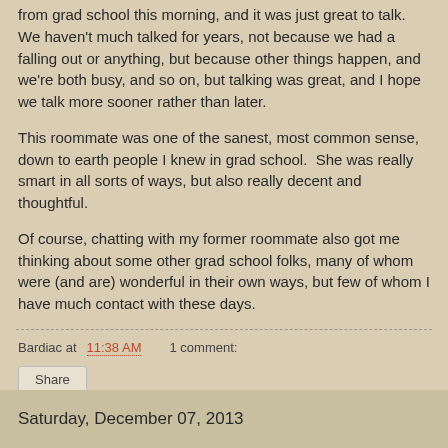from grad school this morning, and it was just great to talk. We haven't much talked for years, not because we had a falling out or anything, but because other things happen, and we're both busy, and so on, but talking was great, and I hope we talk more sooner rather than later.
This roommate was one of the sanest, most common sense, down to earth people I knew in grad school.  She was really smart in all sorts of ways, but also really decent and thoughtful.
Of course, chatting with my former roommate also got me thinking about some other grad school folks, many of whom were (and are) wonderful in their own ways, but few of whom I have much contact with these days.
Bardiac at 11:38 AM    1 comment:
Share
Saturday, December 07, 2013